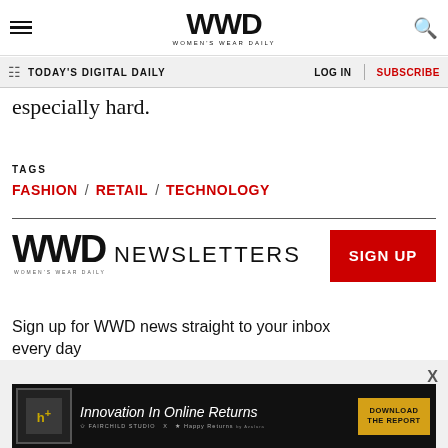WWD WOMEN'S WEAR DAILY
TODAY'S DIGITAL DAILY | LOG IN | SUBSCRIBE
especially hard.
TAGS
FASHION / RETAIL / TECHNOLOGY
[Figure (logo): WWD Women's Wear Daily logo with NEWSLETTERS text]
Sign up for WWD news straight to your inbox every day
[Figure (infographic): Advertisement banner: Innovation In Online Returns with DOWNLOAD THE REPORT button]